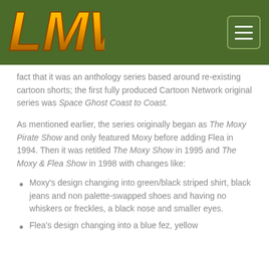[Figure (logo): LMW logo in gold/orange stylized letters on green header bar]
fact that it was an anthology series based around re-existing cartoon shorts; the first fully produced Cartoon Network original series was Space Ghost Coast to Coast.
As mentioned earlier, the series originally began as The Moxy Pirate Show and only featured Moxy before adding Flea in 1994. Then it was retitled The Moxy Show in 1995 and The Moxy & Flea Show in 1998 with changes like:
Moxy's design changing into green/black striped shirt, black jeans and non palette-swapped shoes and having no whiskers or freckles, a black nose and smaller eyes.
Flea's design changing into a blue fez, yellow